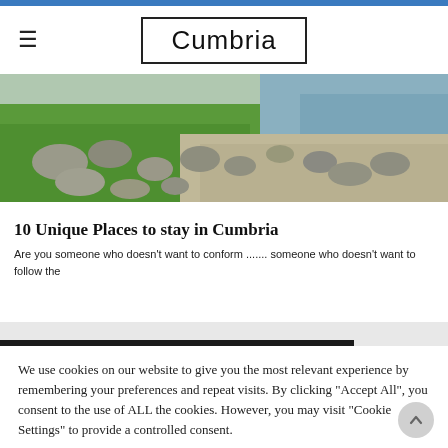Cumbria
[Figure (photo): Outdoor landscape photo showing green grass, large rocks and stones arranged along a path, with a body of water visible in the upper right corner.]
10 Unique Places to stay in Cumbria
Are you someone who doesn't want to conform ....... someone who doesn't want to follow the
YOU MIGHT BE INTERESTED IN
We use cookies on our website to give you the most relevant experience by remembering your preferences and repeat visits. By clicking "Accept All", you consent to the use of ALL the cookies. However, you may visit "Cookie Settings" to provide a controlled consent.